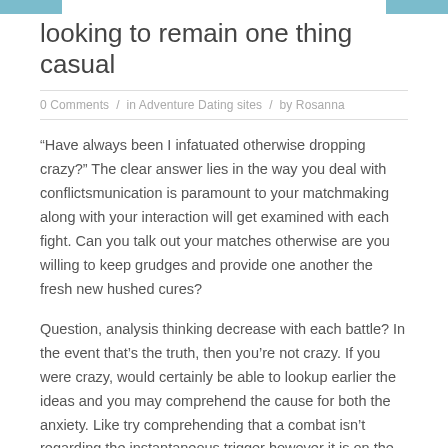looking to remain one thing casual
0 Comments  /  in Adventure Dating sites  /  by Rosanna
“Have always been I infatuated otherwise dropping crazy?” The clear answer lies in the way you deal with conflictsmunication is paramount to your matchmaking along with your interaction will get examined with each fight. Can you talk out your matches otherwise are you willing to keep grudges and provide one another the fresh new hushed cures?
Question, analysis thinking decrease with each battle? In the event that’s the truth, then you’re not crazy. If you were crazy, would certainly be able to lookup earlier the ideas and you may comprehend the cause for both the anxiety. Like try comprehending that a combat isn’t regarding the instantaneous trigger however it is on the most of